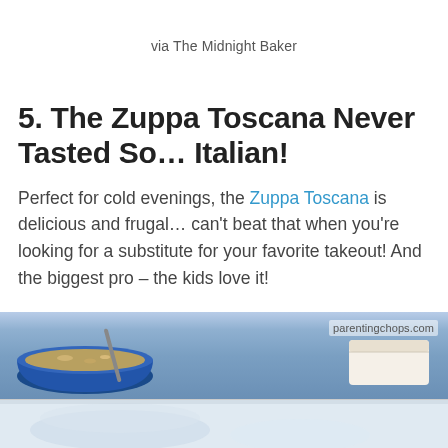via The Midnight Baker
5. The Zuppa Toscana Never Tasted So... Italian!
Perfect for cold evenings, the Zuppa Toscana is delicious and frugal… can't beat that when you're looking for a substitute for your favorite takeout! And the biggest pro – the kids love it!
[Figure (photo): A blue bowl of Zuppa Toscana soup with a spoon, with bread visible on the side. Watermark reads parentingchops.com. Below is a lighter image section showing a close-up of the soup.]